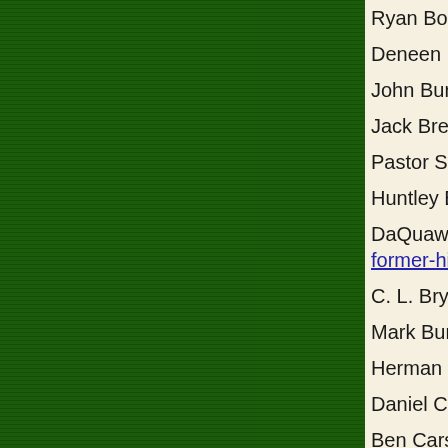Ryan Bomburger http://www.theradiancefound...
Deneen Borelli https://deneenborelli.com/abou...
John Burnett https://www.newsmax.com/insid...
Jack Brewer https://www.rev.com/blog/transcr...
Pastor Stephen Broden https://www.contentofcd...
Huntley Brown http://huntleybrown.org/
DaQuawn Bruce https://www.collegetocongres... former-hill-intern
C. L. Bryant http://www.festivalmorelia.com/
Mark Burns https://en.wikipedia.org/wiki/Mar...
Herman Cain http://www.hermancain.com/
Daniel Cameron https://en.wikipedia.org/wiki/...
Ben Carson http://www.achievement.org/autoc...
Fred Carter http://www.christiancomicsinterna...